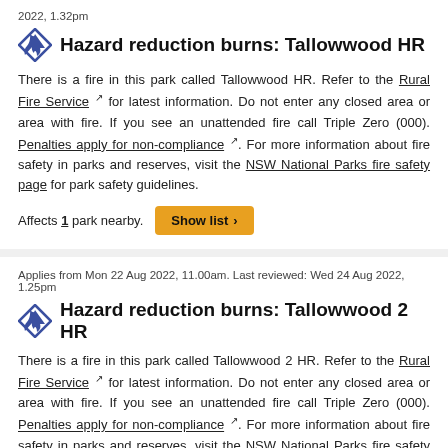2022, 1.32pm
Hazard reduction burns: Tallowwood HR
There is a fire in this park called Tallowwood HR. Refer to the Rural Fire Service for latest information. Do not enter any closed area or area with fire. If you see an unattended fire call Triple Zero (000). Penalties apply for non-compliance. For more information about fire safety in parks and reserves, visit the NSW National Parks fire safety page for park safety guidelines.
Affects 1 park nearby. Show list >
Applies from Mon 22 Aug 2022, 11.00am. Last reviewed: Wed 24 Aug 2022, 1.25pm
Hazard reduction burns: Tallowwood 2 HR
There is a fire in this park called Tallowwood 2 HR. Refer to the Rural Fire Service for latest information. Do not enter any closed area or area with fire. If you see an unattended fire call Triple Zero (000). Penalties apply for non-compliance. For more information about fire safety in parks and reserves, visit the NSW National Parks fire safety page for park safety guidelines.